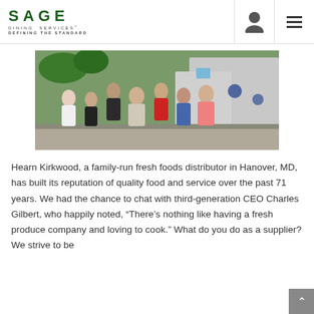SAGE DINING SERVICES — DEFINING THE STANDARD
[Figure (photo): Group photo of family members standing together outdoors in front of delivery trucks]
Hearn Kirkwood, a family-run fresh foods distributor in Hanover, MD, has built its reputation of quality food and service over the past 71 years. We had the chance to chat with third-generation CEO Charles Gilbert, who happily noted, “There’s nothing like having a fresh produce company and loving to cook.” What do you do as a supplier? We strive to be